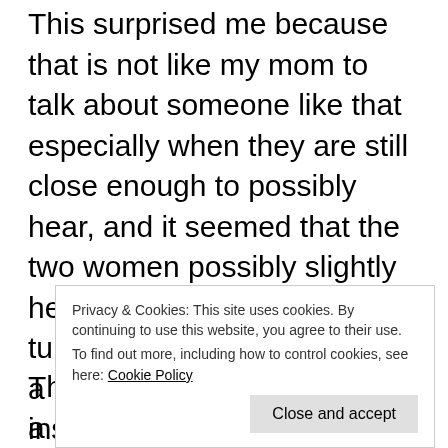This surprised me because that is not like my mom to talk about someone like that especially when they are still close enough to possibly hear, and it seemed that the two women possibly slightly heard us because they turned around and looked for a moment before going inside their house.
After seeing this I said something to distract my mom for a moment until the women were i...
D...
This dream took place inside a large dark
Privacy & Cookies: This site uses cookies. By continuing to use this website, you agree to their use.
To find out more, including how to control cookies, see here: Cookie Policy